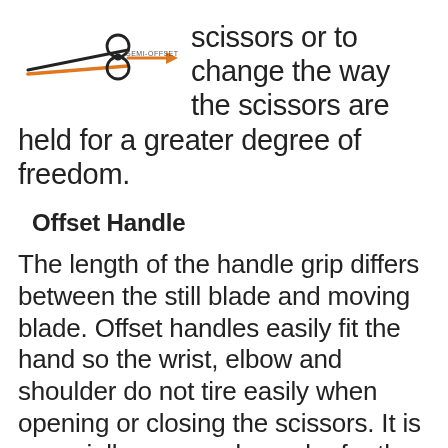[Figure (illustration): Scissors diagram with orange arrow labeled SEMI-OFFSET showing the handle offset feature]
scissors or to change the way the scissors are held for a greater degree of freedom.
Offset Handle
The length of the handle grip differs between the still blade and moving blade. Offset handles easily fit the hand so the wrist, elbow and shoulder do not tire easily when opening or closing the scissors. It is especially easy and popular for the ordinary blunt cut. Another name for this is the ergonomic handle. Various